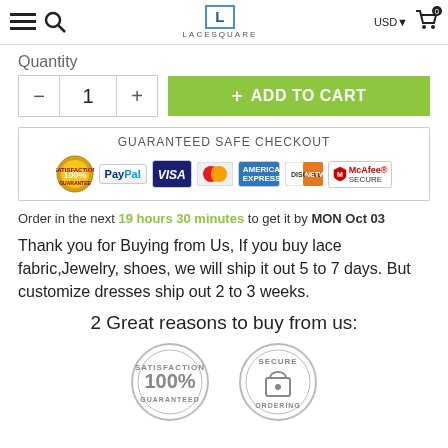LACESQUARE — USD — Cart
Quantity
[Figure (screenshot): Quantity selector with minus, 1, plus buttons and green ADD TO CART button]
[Figure (infographic): GUARANTEED SAFE CHECKOUT banner with PayPal, VISA, MasterCard, American Express, Discover, McAfee SECURE logos]
Order in the next 19 hours 30 minutes to get it by MON Oct 03
Thank you for Buying from Us, If you buy lace fabric,Jewelry, shoes, we will ship it out 5 to 7 days. But customize dresses ship out 2 to 3 weeks.
2 Great reasons to buy from us:
[Figure (illustration): Satisfaction Guaranteed 100% badge and Secure Ordering badge]